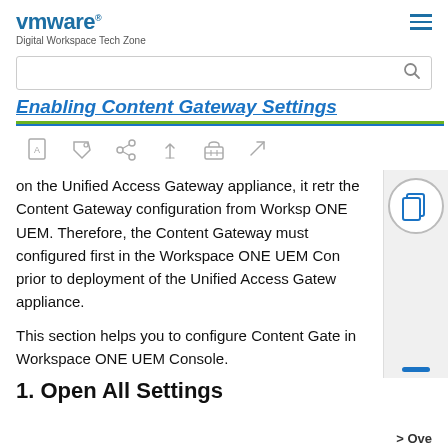VMware Digital Workspace Tech Zone
Enabling Content Gateway Settings
[Figure (infographic): Row of toolbar icons: PDF, tag, share, pin, toolbox, expand]
on the Unified Access Gateway appliance, it retrieves the Content Gateway configuration from Workspace ONE UEM. Therefore, the Content Gateway must be configured first in the Workspace ONE UEM Console prior to deployment of the Unified Access Gateway appliance.
This section helps you to configure Content Gateway in Workspace ONE UEM Console.
1. Open All Settings